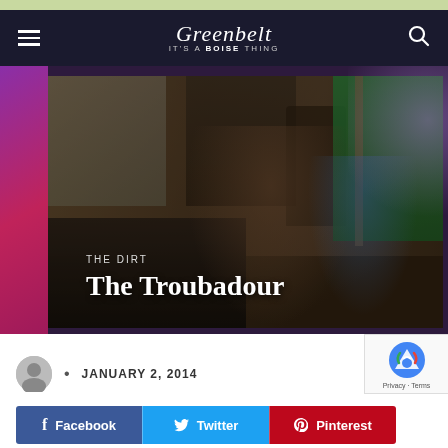Greenbelt — IT'S A BOISE THING
[Figure (photo): Two men in a music room/studio with guitars, bookshelves, equipment, and a green shirt hanging on a rack. Text overlay shows 'THE DIRT' and 'The Troubadour'.]
The Troubadour
THE DIRT
JANUARY 2, 2014